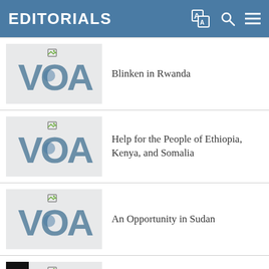EDITORIALS
Blinken in Rwanda
Help for the People of Ethiopia, Kenya, and Somalia
An Opportunity in Sudan
Pursuing Nuclear Non-Proliferation and Disarmament